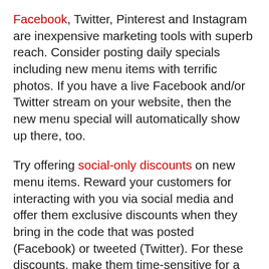Facebook, Twitter, Pinterest and Instagram are inexpensive marketing tools with superb reach. Consider posting daily specials including new menu items with terrific photos. If you have a live Facebook and/or Twitter stream on your website, then the new menu special will automatically show up there, too.
Try offering social-only discounts on new menu items. Reward your customers for interacting with you via social media and offer them exclusive discounts when they bring in the code that was posted (Facebook) or tweeted (Twitter). For these discounts, make them time-sensitive for a stronger call to action.
ADVERTISEMENT